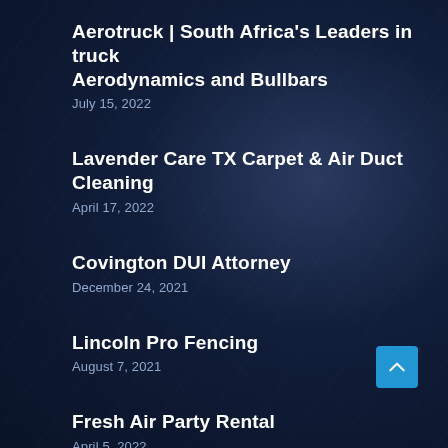Aerotruck | South Africa's Leaders in truck Aerodynamics and Bullbars
July 15, 2022
Lavender Care TX Carpet & Air Duct Cleaning
April 17, 2022
Covington DUI Attorney
December 24, 2021
Lincoln Pro Fencing
August 7, 2021
Fresh Air Party Rental
April 5, 2022